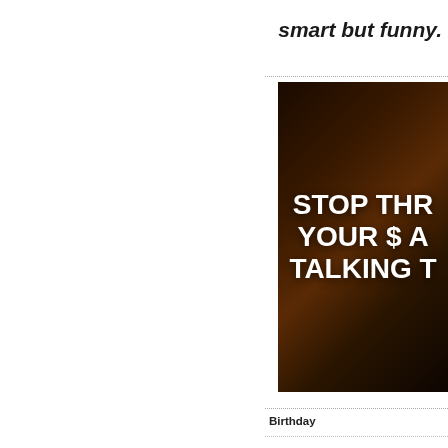smart but funny.
[Figure (photo): Dark promotional image with white bold text reading 'STOP THR... YOUR $ A... TALKING T...' overlaid on a dark background with warm tones suggesting fire or a person.]
| Birthday |
| Sign of the Zodiac |
| Gender |
| Type of Relationship |